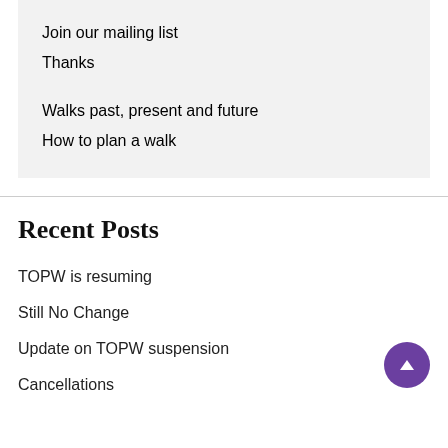Join our mailing list
Thanks
Walks past, present and future
How to plan a walk
Recent Posts
TOPW is resuming
Still No Change
Update on TOPW suspension
Cancellations